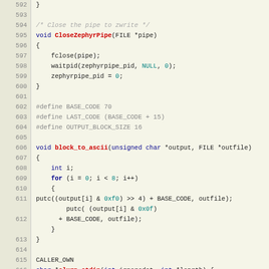[Figure (screenshot): Source code listing in C, lines 592-620, showing CloseZephyrPipe, block_to_ascii, and slurp_stdin function definitions with syntax highlighting on a beige/cream background.]